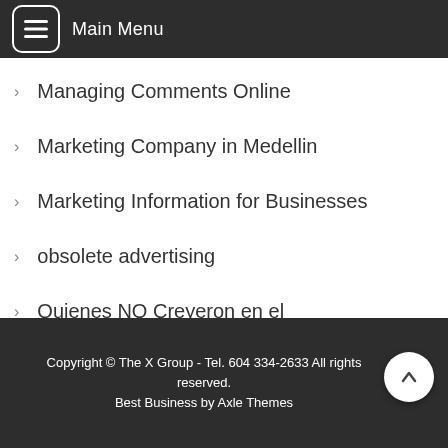Main Menu
Managing Comments Online
Marketing Company in Medellin
Marketing Information for Businesses
obsolete advertising
Quienes NO Creyeron en el Redireccionamiento de Clientes
reputation management
Copyright © The X Group - Tel. 604 334-2633 All rights reserved.
Best Business by Axle Themes